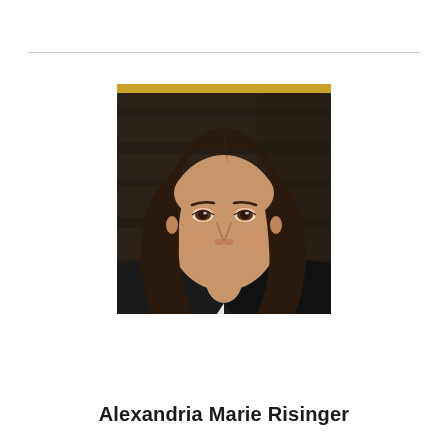[Figure (photo): Professional headshot of Alexandria Marie Risinger, a young woman with long dark brown hair, smiling, wearing a black blazer over a white collar shirt, posed against a dark wood-paneled background. A gold bar appears at the top of the photo frame.]
Alexandria Marie Risinger